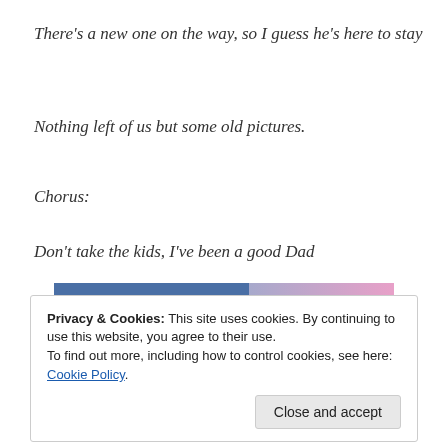There's a new one on the way, so I guess he's here to stay
Nothing left of us but some old pictures.
Chorus:
Don't take the kids, I've been a good Dad
[Figure (screenshot): Advertisement banner with text 'everything you need.' on blue background fading to pink gradient, with 'REPORT THIS AD' label]
Privacy & Cookies: This site uses cookies. By continuing to use this website, you agree to their use.
To find out more, including how to control cookies, see here: Cookie Policy
Close and accept